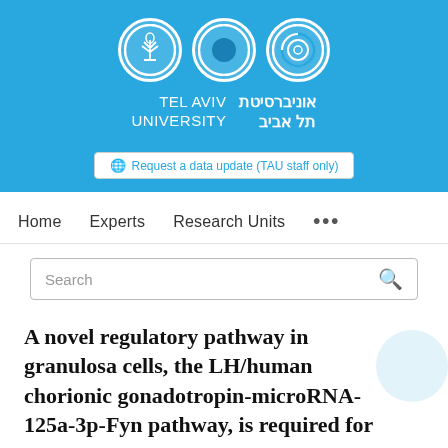[Figure (logo): Tel Aviv University logo with three circular icons and bilingual name in Hebrew and English on a blue background]
Request a data update (TAU staff only)
Home   Experts   Research Units   ...
Search
A novel regulatory pathway in granulosa cells, the LH/human chorionic gonadotropin-microRNA-125a-3p-Fyn pathway, is required for